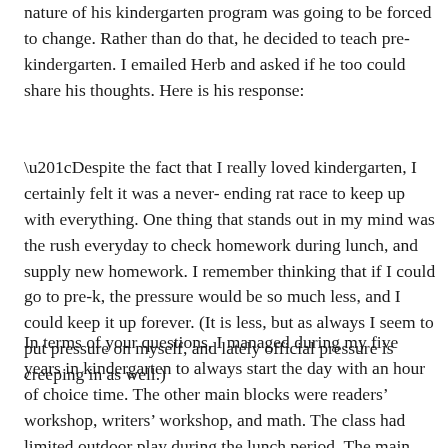nature of his kindergarten program was going to be forced to change. Rather than do that, he decided to teach pre-kindergarten. I emailed Herb and asked if he too could share his thoughts. Here is his response:
“Despite the fact that I really loved kindergarten, I certainly felt it was a never- ending rat race to keep up with everything. One thing that stands out in my mind was the rush everyday to check homework during lunch, and supply new homework. I remember thinking that if I could go to pre-k, the pressure would be so much less, and I could keep it up forever. (It is less, but as always I seem to put pressure on myself, and lately official pressure is creeping in as well.)
In terms of your questions, I managed during my five years in kindergarten to always start the day with an hour of choice time. The other main blocks were readers’ workshop, writers’ workshop, and math. The class had limited outdoor play during the lunch period. The main assessment as I remember